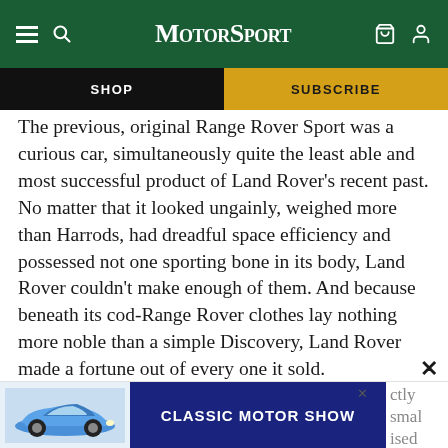Motor Sport — navigation bar with hamburger menu, search, logo, bag and user icons
SHOP
SUBSCRIBE
The previous, original Range Rover Sport was a curious car, simultaneously quite the least able and most successful product of Land Rover's recent past. No matter that it looked ungainly, weighed more than Harrods, had dreadful space efficiency and possessed not one sporting bone in its body, Land Rover couldn't make enough of them. And because beneath its cod-Range Rover clothes lay nothing more noble than a simple Discovery, Land Rover made a fortune out of every one it sold.
[Figure (screenshot): Advertisement banner at the bottom showing a blue Porsche 911 car image on the left, a dark blue rectangle with 'CLASSIC MOTOR SHOW' text in the center, and partially visible article text on the right. An X close button appears at top right of the ad.]